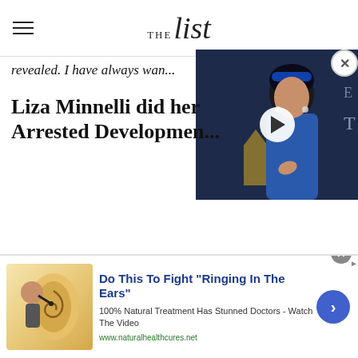THE list
revealed. I have always wan...
Liza Minnelli did her Arrested Developmen...
[Figure (screenshot): Video thumbnail showing a woman in a blue dress with a play button overlay]
[Figure (other): Advertisement: Do This To Fight 'Ringing In The Ears' - 100% Natural Treatment Has Stunned Doctors - Watch The Video. www.naturalhealthcures.net. Shows an ear illustration.]